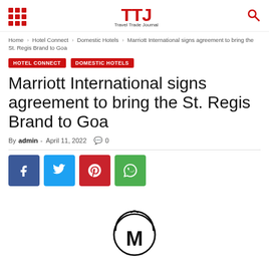[Figure (logo): Travel Trade Journal (TTJ) logo with red TTJ text and grid icon]
Home › Hotel Connect › Domestic Hotels › Marriott International signs agreement to bring the St. Regis Brand to Goa
HOTEL CONNECT   DOMESTIC HOTELS
Marriott International signs agreement to bring the St. Regis Brand to Goa
By admin - April 11, 2022  💬 0
[Figure (logo): Marriott International logo mark at bottom of page]